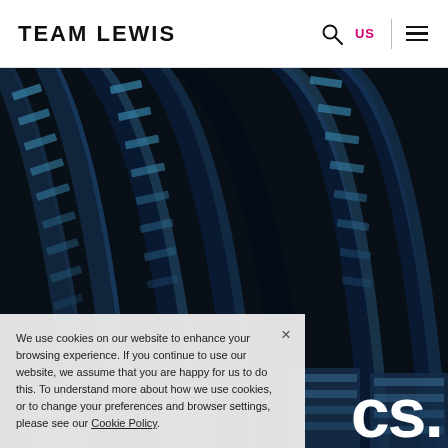TEAM LEWIS
[Figure (photo): Dark blue architectural photo showing curved arched ceiling structure with blue-lit panels, viewed from below at an angle]
CS.
We use cookies on our website to enhance your browsing experience. If you continue to use our website, we assume that you are happy for us to do this. To understand more about how we use cookies, or to change your preferences and browser settings, please see our Cookie Policy.